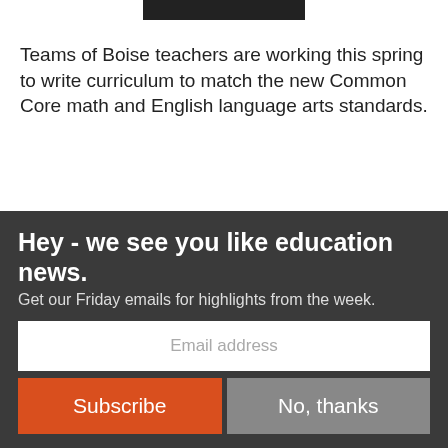[Figure (photo): Partial top photo strip, dark/black and white image cropped at top]
Teams of Boise teachers are working this spring to write curriculum to match the new Common Core math and English language arts standards.
The teachers are on a deadline. Common Core will be implemented in
[Figure (photo): Black and white headshot portrait of a middle-aged man with thinning hair, smiling]
Hey - we see you like education news.
Get our Friday emails for highlights from the week.
Email address
Subscribe
No, thanks